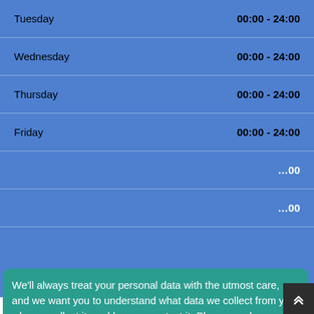| Day | Hours |
| --- | --- |
| Tuesday | 00:00 - 24:00 |
| Wednesday | 00:00 - 24:00 |
| Thursday | 00:00 - 24:00 |
| Friday | 00:00 - 24:00 |
| [Saturday partial] | …00 |
| [Sunday partial] | …00 |
We'll always treat your personal data with the utmost care, and we want you to understand what data we collect from you, why we collect it, and how we protect it. Please read our Privacy & Cookie Policy before continuing.
Read Our Privacy and Cookie Policy
Decline
Accept
who ned recommended them.